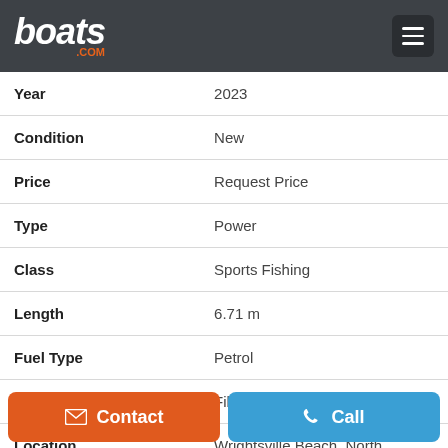boats.com
| Field | Value |
| --- | --- |
| Year | 2023 |
| Condition | New |
| Price | Request Price |
| Type | Power |
| Class | Sports Fishing |
| Length | 6.71 m |
| Fuel Type | Petrol |
| Hull Material | Fibreglass |
| Location | Wrightsville Beach, North Carolina, United States |
Contact
Call